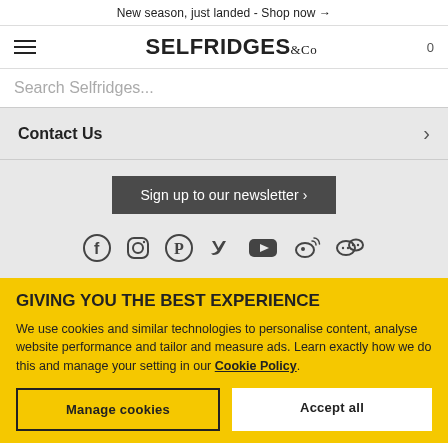New season, just landed - Shop now →
[Figure (logo): Selfridges & Co logo with hamburger menu and cart count 0]
Search Selfridges...
Contact Us
Sign up to our newsletter ›
[Figure (infographic): Social media icons row: Facebook, Instagram, Pinterest, Twitter, YouTube, Weibo, WeChat]
GIVING YOU THE BEST EXPERIENCE
We use cookies and similar technologies to personalise content, analyse website performance and tailor and measure ads. Learn exactly how we do this and manage your setting in our Cookie Policy.
Manage cookies
Accept all